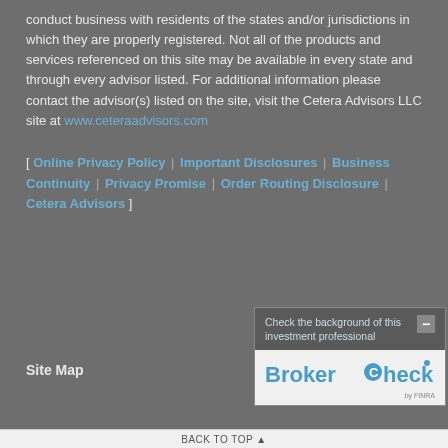conduct business with residents of the states and/or jurisdictions in which they are properly registered. Not all of the products and services referenced on this site may be available in every state and through every advisor listed. For additional information please contact the advisor(s) listed on the site, visit the Cetera Advisors LLC site at www.ceteraadvisors.com
[ Online Privacy Policy | Important Disclosures | Business Continuity | Privacy Promise | Order Routing Disclosure | Cetera Advisors ]
Site Map
[Figure (screenshot): BrokerCheck by FINRA widget showing 'Check the background of this investment professional' with BrokerCheck logo]
Back To Top